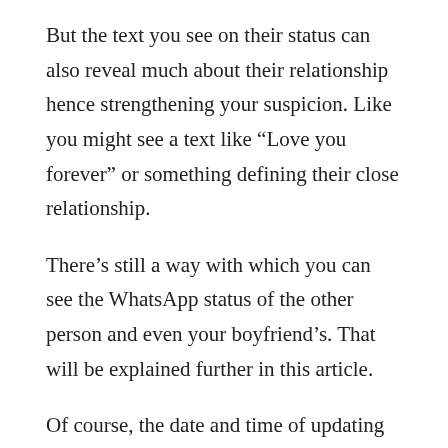But the text you see on their status can also reveal much about their relationship hence strengthening your suspicion. Like you might see a text like “Love you forever” or something defining their close relationship.
There’s still a way with which you can see the WhatsApp status of the other person and even your boyfriend’s. That will be explained further in this article.
Of course, the date and time of updating the status can be seen as well.
Want To Peek On All The WhatsApp Photos, WhatsApp